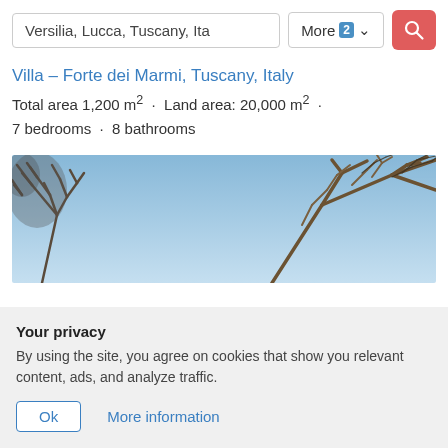Versilia, Lucca, Tuscany, Ita  More 2  [search button]
Villa – Forte dei Marmi, Tuscany, Italy
Total area 1,200 m² · Land area: 20,000 m² · 7 bedrooms · 8 bathrooms
[Figure (photo): Outdoor photo showing bare winter tree branches against a blue sky]
Your privacy
By using the site, you agree on cookies that show you relevant content, ads, and analyze traffic.
Ok   More information